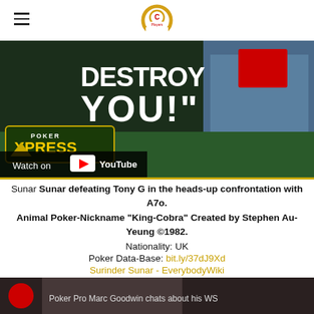Cardplayer Lifestyle (logo)
[Figure (screenshot): YouTube video thumbnail showing 'Poker Xpress' branding with large text 'DESTROY YOU!' and a Watch on YouTube bar at the bottom left. Shows a person in a blue shirt on the right side of the image.]
Sunar Sunar defeating Tony G in the heads-up confrontation with A7o.
Animal Poker-Nickname "King-Cobra" Created by Stephen Au-Yeung ©1982.
Nationality: UK
Poker Data-Base: bit.ly/37dJ9Xd
Surinder Sunar - EverybodyWiki
[Figure (screenshot): Bottom partial thumbnail showing a person's face partially visible, with text 'Poker Pro Marc Goodwin chats about his WS' at the bottom.]